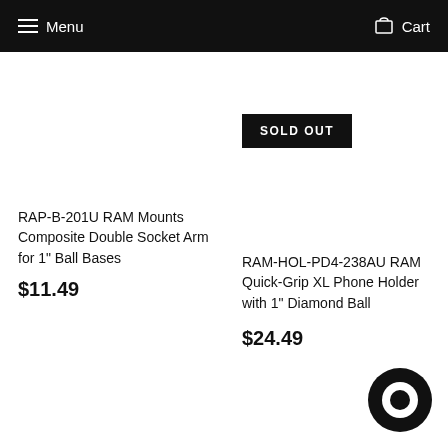Menu   Cart
SOLD OUT
RAP-B-201U RAM Mounts Composite Double Socket Arm for 1" Ball Bases
$11.49
RAM-HOL-PD4-238AU RAM Quick-Grip XL Phone Holder with 1" Diamond Ball
$24.49
[Figure (illustration): Chat bubble / messaging icon — circular with inner ring cutout]